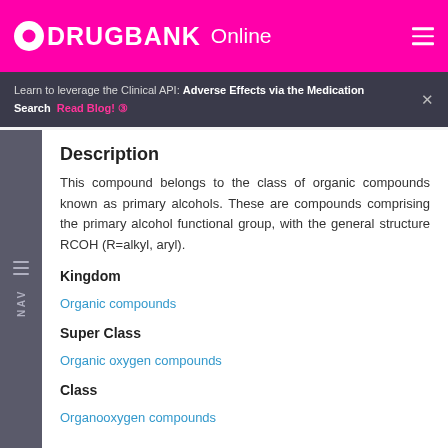DRUGBANK Online
Learn to leverage the Clinical API: Adverse Effects via the Medication Search Read Blog!
Description
This compound belongs to the class of organic compounds known as primary alcohols. These are compounds comprising the primary alcohol functional group, with the general structure RCOH (R=alkyl, aryl).
Kingdom
Organic compounds
Super Class
Organic oxygen compounds
Class
Organooxygen compounds